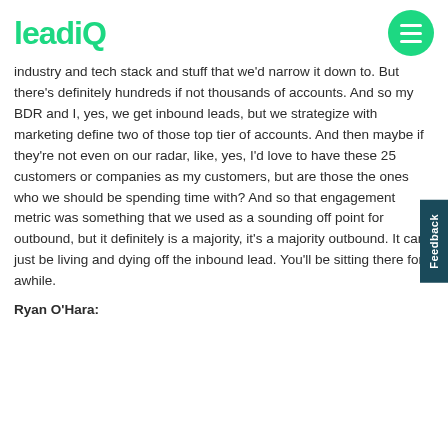leadiQ
industry and tech stack and stuff that we'd narrow it down to. But there's definitely hundreds if not thousands of accounts. And so my BDR and I, yes, we get inbound leads, but we strategize with marketing define two of those top tier of accounts. And then maybe if they're not even on our radar, like, yes, I'd love to have these 25 customers or companies as my customers, but are those the ones who we should be spending time with? And so that engagement metric was something that we used as a sounding off point for outbound, but it definitely is a majority, it's a majority outbound. It can't just be living and dying off the inbound lead. You'll be sitting there for awhile.
Ryan O'Hara: